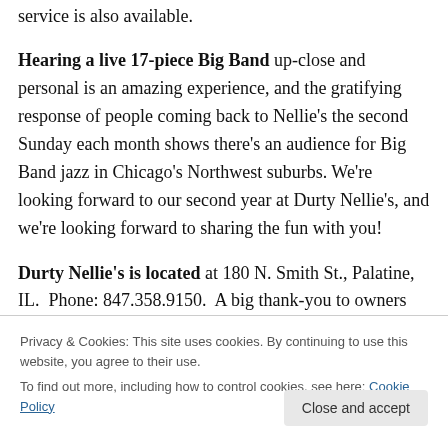service is also available.
Hearing a live 17-piece Big Band up-close and personal is an amazing experience, and the gratifying response of people coming back to Nellie’s the second Sunday each month shows there’s an audience for Big Band jazz in Chicago’s Northwest suburbs.  We’re looking forward to our second year at Durty Nellie’s, and we’re looking forward to sharing the fun with you!
Durty Nellie’s is located at 180 N. Smith St., Palatine, IL.  Phone: 847.358.9150.  A big thank-you to owners Mark
Privacy & Cookies: This site uses cookies. By continuing to use this website, you agree to their use.
To find out more, including how to control cookies, see here: Cookie Policy
Close and accept